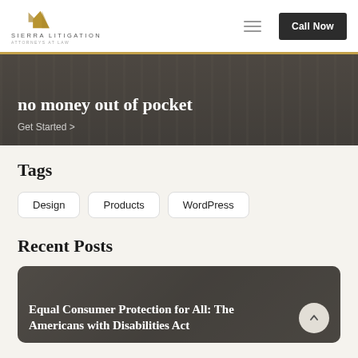[Figure (logo): Sierra Litigation Attorneys at Law logo with mountain peak icon above text]
[Figure (screenshot): Navigation bar with hamburger menu icon and Call Now button]
no money out of pocket
Get Started >
Tags
Design
Products
WordPress
Recent Posts
Equal Consumer Protection for All: The Americans with Disabilities Act